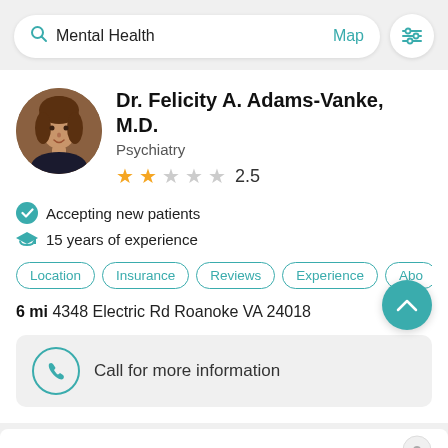Mental Health  Map
Dr. Felicity A. Adams-Vanke, M.D.
Psychiatry
2.5 stars
Accepting new patients
15 years of experience
Location  Insurance  Reviews  Experience  Abo
6 mi  4348 Electric Rd Roanoke VA 24018
Call for more information